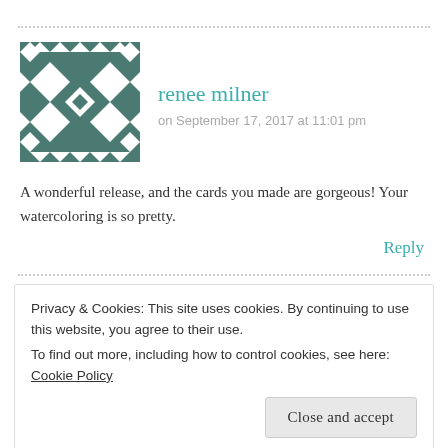[Figure (illustration): Avatar/profile image with geometric teal and white pattern resembling a decorative quilt or mosaic design]
renee milner
on September 17, 2017 at 11:01 pm
A wonderful release, and the cards you made are gorgeous! Your watercoloring is so pretty.
Reply
Privacy & Cookies: This site uses cookies. By continuing to use this website, you agree to their use.
To find out more, including how to control cookies, see here: Cookie Policy
Close and accept